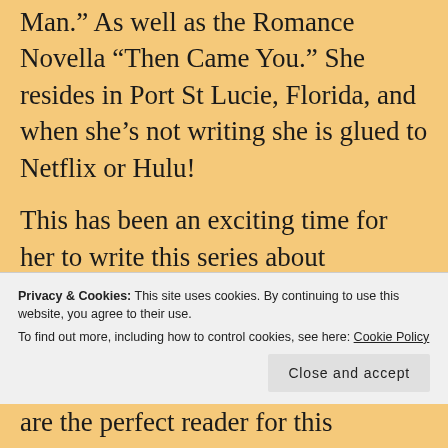Man.” As well as the Romance Novella “Then Came You.” She resides in Port St Lucie, Florida, and when she’s not writing she is glued to Netflix or Hulu!
This has been an exciting time for her to write this series about vampires, werewolves, and romance because she grew up reading and watching
Privacy & Cookies: This site uses cookies. By continuing to use this website, you agree to their use.
To find out more, including how to control cookies, see here: Cookie Policy
Close and accept
are the perfect reader for this